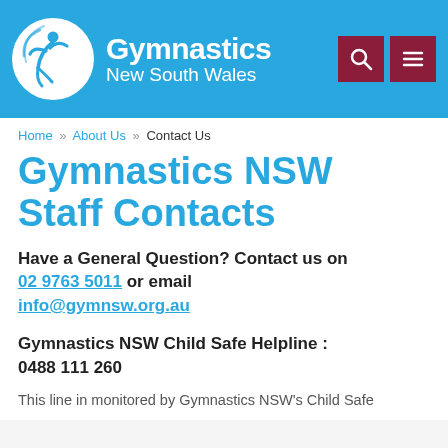[Figure (logo): Gymnastics New South Wales logo with white circle containing a gymnast figure and the text 'Gymnastics New South Wales' in white on a blue background header, with two dark red icon buttons (search and menu) on the right.]
Home » About Us » Contact Us
Gymnastics NSW Staff Contacts
Have a General Question? Contact us on 02 9763 5011 or email info@gymnsw.org.au
Gymnastics NSW Child Safe Helpline : 0488 111 260
This line in monitored by Gymnastics NSW's Child Safe